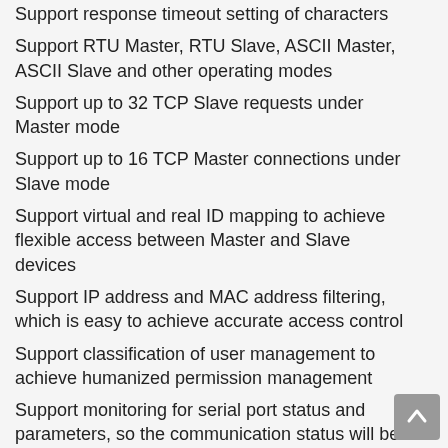Support response timeout setting of characters
Support RTU Master, RTU Slave, ASCII Master, ASCII Slave and other operating modes
Support up to 32 TCP Slave requests under Master mode
Support up to 16 TCP Master connections under Slave mode
Support virtual and real ID mapping to achieve flexible access between Master and Slave devices
Support IP address and MAC address filtering, which is easy to achieve accurate access control
Support classification of user management to achieve humanized permission management
Support monitoring for serial port status and parameters, so the communication status will be clear at a glance
Support Windows configuration tool, TELNET...